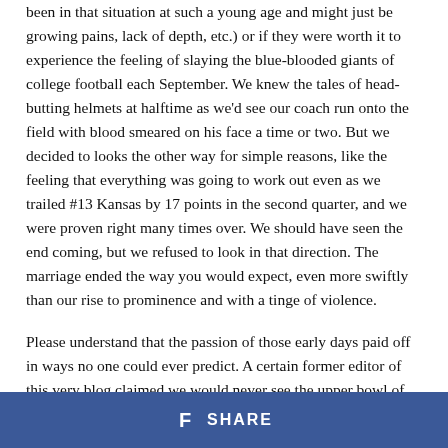been in that situation at such a young age and might just be growing pains, lack of depth, etc.) or if they were worth it to experience the feeling of slaying the blue-blooded giants of college football each September. We knew the tales of head-butting helmets at halftime as we'd see our coach run onto the field with blood smeared on his face a time or two. But we decided to looks the other way for simple reasons, like the feeling that everything was going to work out even as we trailed #13 Kansas by 17 points in the second quarter, and we were proven right many times over. We should have seen the end coming, but we refused to look in that direction. The marriage ended the way you would expect, even more swiftly than our rise to prominence and with a tinge of violence.
Please understand that the passion of those early days paid off in ways no one could ever predict. A certain former editor of this very blog claimed we would never see the upper bowl of